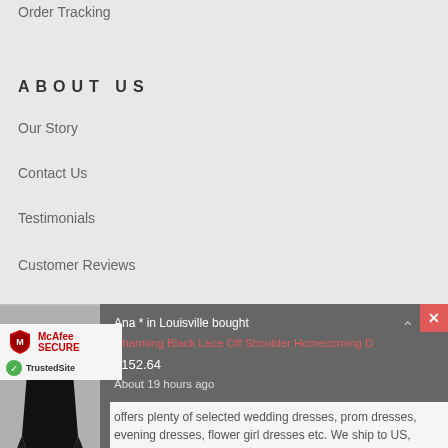Order Tracking
ABOUT US
Our Story
Contact Us
Testimonials
Customer Reviews
Terms Of Use
Privacy Policy
[Figure (screenshot): Popup notification: Ana * in Louisville bought Charming Black Lace Off Shoulder Homecoming D for $152.64 about 19 hours ago, with dress image on left and close button top right]
[Figure (logo): McAfee SECURE and TrustedSite badges]
offers plenty of selected wedding dresses, prom dresses, evening dresses, flower girl dresses etc. We ship to US,